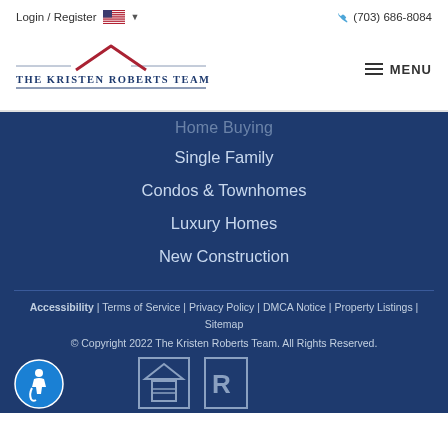Login / Register | (703) 686-8084
[Figure (logo): The Kristen Roberts Team logo with red roof accent and horizontal lines]
Home Buying (partially visible)
Single Family
Condos & Townhomes
Luxury Homes
New Construction
Accessibility | Terms of Service | Privacy Policy | DMCA Notice | Property Listings | Sitemap
© Copyright 2022 The Kristen Roberts Team. All Rights Reserved.